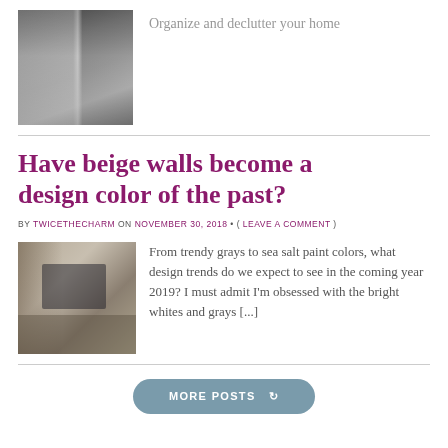[Figure (photo): Closet with hanging white garments and dark background]
Organize and declutter your home
Have beige walls become a design color of the past?
BY TWICETHECHARM ON NOVEMBER 30, 2018 • ( LEAVE A COMMENT )
[Figure (photo): Living room with gray walls, TV, couches, and dark wood accent wall]
From trendy grays to sea salt paint colors, what design trends do we expect to see in the coming year 2019? I must admit I'm obsessed with the bright whites and grays [...]
Recent Posts